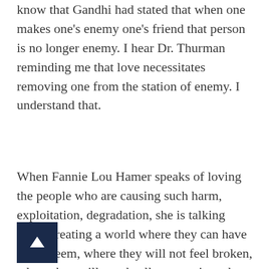know that Gandhi had stated that when one makes one's enemy one's friend that person is no longer enemy. I hear Dr. Thurman reminding me that love necessitates removing one from the station of enemy. I understand that.
When Fannie Lou Hamer speaks of loving the people who are causing such harm, exploitation, degradation, she is talking about creating a world where they can have self-esteem, where they will not feel broken, where they will not dwell on scarcity, where they can have abundant life. And strangely they had beaten her because she was devoted to creating a world where these conditions